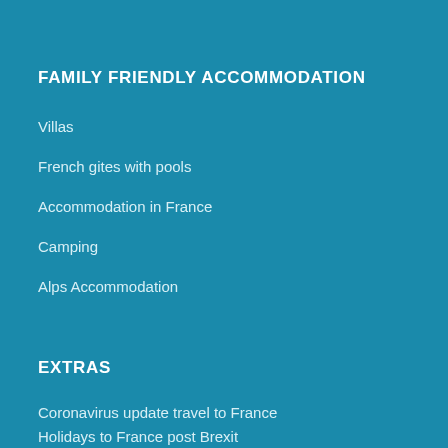FAMILY FRIENDLY ACCOMMODATION
Villas
French gites with pools
Accommodation in France
Camping
Alps Accommodation
EXTRAS
Coronavirus update travel to France
Holidays to France post Brexit